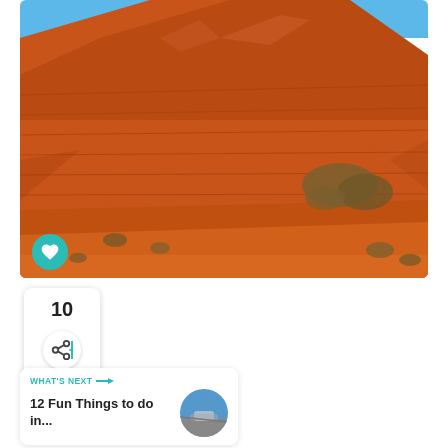[Figure (photo): Red sandstone desert landscape with a large orange-red hill/butte, blue sky at top, sparse desert shrubs on the rocky terrain]
10
[Figure (infographic): Share button icon (network share symbol) in a circular white button]
WHAT'S NEXT → 12 Fun Things to do in...